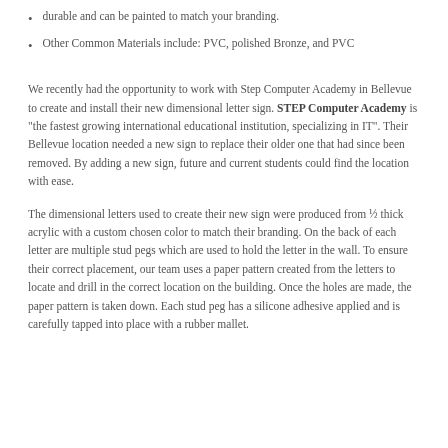durable and can be painted to match your branding.
Other Common Materials include: PVC, polished Bronze, and PVC
We recently had the opportunity to work with Step Computer Academy in Bellevue to create and install their new dimensional letter sign. STEP Computer Academy is “the fastest growing international educational institution, specializing in IT”. Their Bellevue location needed a new sign to replace their older one that had since been removed. By adding a new sign, future and current students could find the location with ease.
The dimensional letters used to create their new sign were produced from ½ thick acrylic with a custom chosen color to match their branding. On the back of each letter are multiple stud pegs which are used to hold the letter in the wall. To ensure their correct placement, our team uses a paper pattern created from the letters to locate and drill in the correct location on the building. Once the holes are made, the paper pattern is taken down. Each stud peg has a silicone adhesive applied and is carefully tapped into place with a rubber mallet.